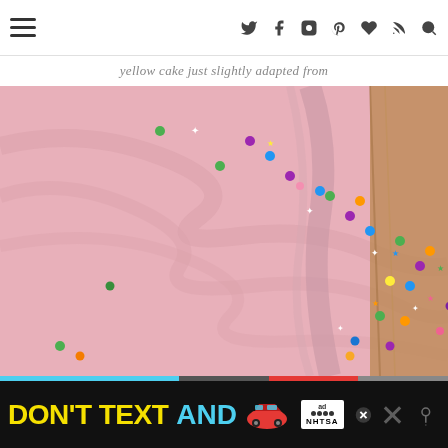navigation header with hamburger menu and social icons
yellow cake just slightly adapted from
[Figure (photo): Close-up photo of a pink frosted cake decorated with colorful confetti sprinkles (stars and round shapes in green, purple, blue, orange, yellow, white). The cake sits on a wooden surface. A watermark reads 'All Roads Lead To The Kitchen' with the date 'est. 2010'.]
[Figure (infographic): Advertisement banner: 'DON'T TEXT AND [car emoji]' with NHTSA ad logo and a close button. Black background with yellow and cyan text.]